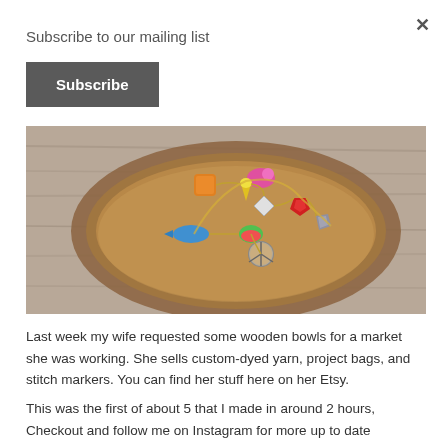Subscribe to our mailing list
Subscribe
[Figure (photo): Top-down photo of colorful charm jewelry pieces arranged in a round wooden bowl on a wood-grain surface. Charms include animals, food, and decorative shapes in bright colors.]
Last week my wife requested some wooden bowls for a market she was working. She sells custom-dyed yarn, project bags, and stitch markers. You can find her stuff here on her Etsy.
This was the first of about 5 that I made in around 2 hours, Checkout and follow me on Instagram for more up to date